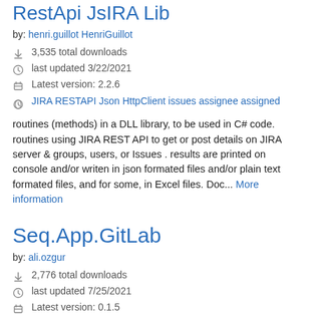RestApi JsIRA Lib
by: henri.guillot HenriGuillot
3,535 total downloads
last updated 3/22/2021
Latest version: 2.2.6
JIRA RESTAPI Json HttpClient issues assignee assigned
routines (methods) in a DLL library, to be used in C# code. routines using JIRA REST API to get or post details on JIRA server & groups, users, or Issues . results are printed on console and/or writen in json formated files and/or plain text formated files, and for some, in Excel files. Doc... More information
Seq.App.GitLab
by: ali.ozgur
2,776 total downloads
last updated 7/25/2021
Latest version: 0.1.5
seq-app Seq Serilog GitLab Seq.App Seq.App.GitLab